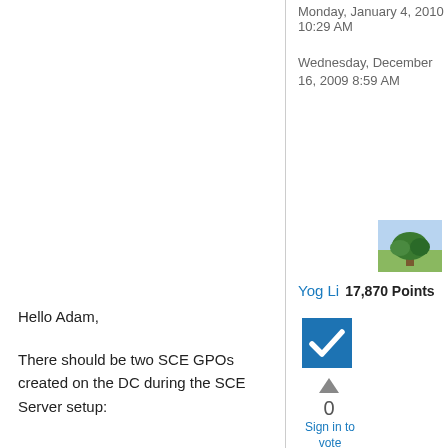Monday, January 4, 2010 10:29 AM
Wednesday, December 16, 2009 8:59 AM
[Figure (photo): Avatar photo of a tree in a field]
Yog Li   17,870 Points
[Figure (other): Blue checkbox with white checkmark]
0
Sign in to vote
Hello Adam,
There should be two SCE GPOs created on the DC during the SCE Server setup: